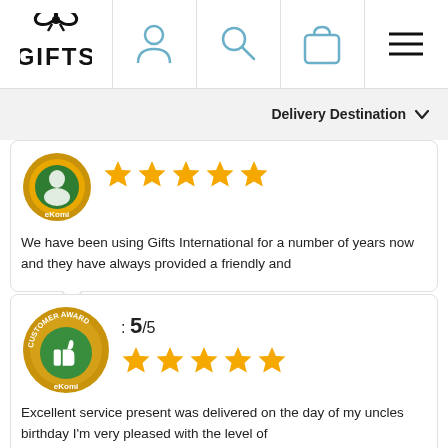[Figure (logo): Gifts International logo with bow icon and bold 'GIFTS' text]
[Figure (illustration): Navigation icons: user/person icon, search/magnifying glass icon, shopping bag icon, hamburger menu icon]
Delivery Destination ∨
[Figure (illustration): eKomi gold badge with 5 yellow stars for customer review]
We have been using Gifts International for a number of years now and they have always provided a friendly and
[Figure (illustration): eKomi Customer Award gold badge with thumbs up icon, rating 5/5 and 5 yellow stars]
Excellent service present was delivered on the day of my uncles birthday I'm very pleased with the level of